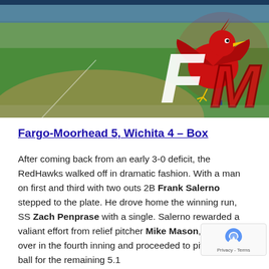[Figure (photo): Banner image showing a baseball field with a player standing in the outfield. On the right side is the Fargo-Moorhead RedHawks logo — a red cardinal bird with 'FM' letters in large font.]
Fargo-Moorhead 5, Wichita 4 – Box
After coming back from an early 3-0 deficit, the RedHawks walked off in dramatic fashion. With a man on first and third with two outs 2B Frank Salerno stepped to the plate. He drove home the winning run, SS Zach Penprase with a single. Salerno rewarded a valiant effort from relief pitcher Mike Mason, who took over in the fourth inning and proceeded to pitch shutout ball for the remaining 5.1 innings. More coming from Fargo, as well as...